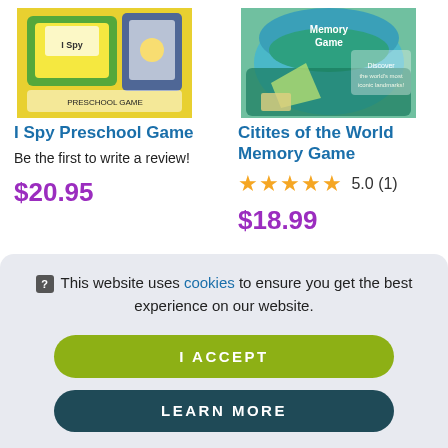[Figure (photo): Product image of I Spy Preschool Game box on yellow background]
[Figure (photo): Product image of Cities of the World Memory Game box with world map]
I Spy Preschool Game
Citites of the World Memory Game
Be the first to write a review!
★★★★★ 5.0 (1)
$20.95
$18.99
🛈 This website uses cookies to ensure you get the best experience on our website.
I ACCEPT
LEARN MORE